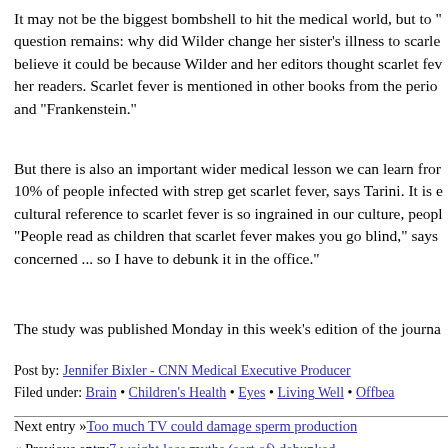It may not be the biggest bombshell to hit the medical world, but to " question remains: why did Wilder change her sister's illness to scarle believe it could be because Wilder and her editors thought scarlet fev her readers. Scarlet fever is mentioned in other books from the perio and "Frankenstein."
But there is also an important wider medical lesson we can learn fro 10% of people infected with strep get scarlet fever, says Tarini. It is e cultural reference to scarlet fever is so ingrained in our culture, peop "People read as children that scarlet fever makes you go blind," says concerned ... so I have to debunk it in the office."
The study was published Monday in this week's edition of the journa
Post by: Jennifer Bixler - CNN Medical Executive Producer
Filed under: Brain • Children's Health • Eyes • Living Well • Offbea
Next entry »Too much TV could damage sperm production
« Previous entry7 weight loss myths (sort of) debunked
soundoff (1,771 Responses)
1. Sammy